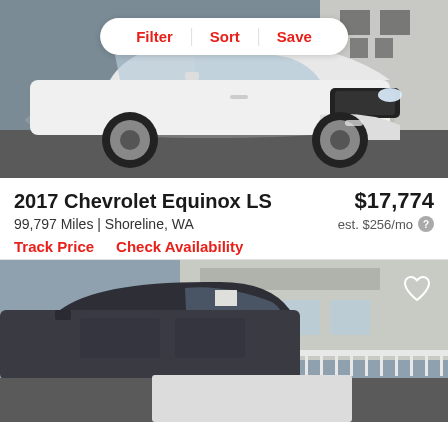[Figure (photo): White 2017 Chevrolet Equinox LS SUV photographed from front-left angle in a parking lot. Filter/Sort/Save toolbar overlaid at top.]
2017 Chevrolet Equinox LS
$17,774
99,797 Miles | Shoreline, WA
est. $256/mo
Track Price   Check Availability
[Figure (photo): Dark-colored SUV photographed from front-left angle in front of a building with white railings. Partially cropped at bottom.]